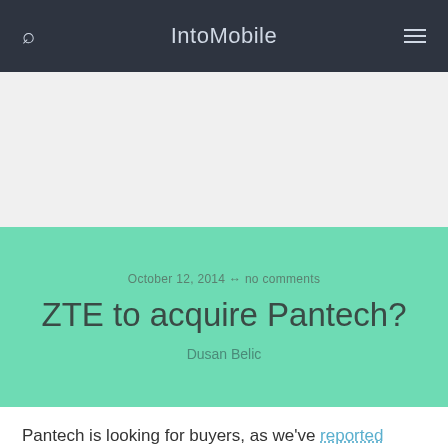IntoMobile
[Figure (other): Advertisement / white space area]
October 12, 2014 ↔ no comments
ZTE to acquire Pantech?
Dusan Belic
Pantech is looking for buyers, as we've reported before. Korea's third-largest handset maker has recently put its business on sale, and — according to an official from Samjong KMPG — it has received numerous letters of intent for purchase. One of the companies looking to grab the struggling company is China's ZTE, which is already